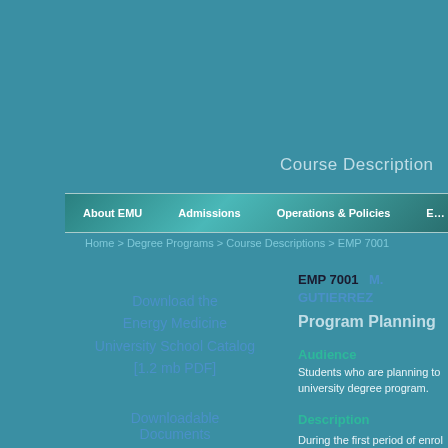Course Description
About EMU   Admissions   Operations & Policies   E…
Home > Degree Programs > Course Descriptions > EMP 7001
Download the Energy Medicine University School Catalog [1.2 mb PDF]
Downloadable Documents
EMP 7001   M. GUTIERREZ
Program Planning
Audience
Students who are planning to university degree program.
Description
During the first period of enrol transfer to an affiliate universi must participate in the Progra Dean.